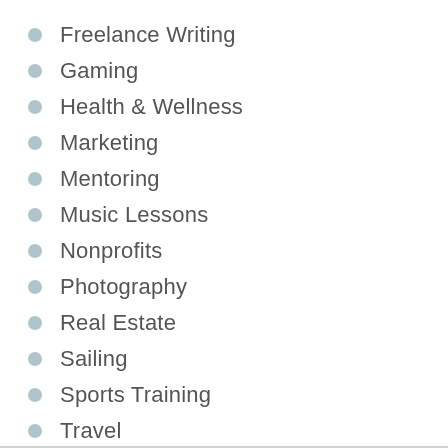Freelance Writing
Gaming
Health & Wellness
Marketing
Mentoring
Music Lessons
Nonprofits
Photography
Real Estate
Sailing
Sports Training
Travel